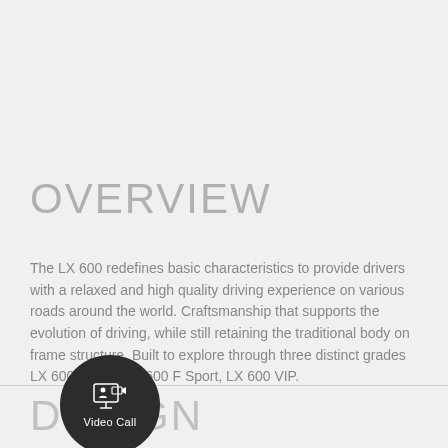OVERVIEW
The LX 600 redefines basic characteristics to provide drivers with a relaxed and high quality driving experience on various roads around the world. Craftsmanship that supports the evolution of driving, while still retaining the traditional body on frame structure. Built to explore through three distinct grades LX 600 Urban, LX 600 F Sport, LX 600 VIP.
[Figure (infographic): Dark circular button with video camera icon and 'Video Call' label]
DESIGN